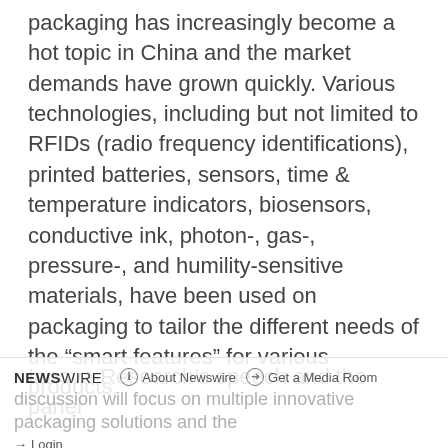packaging has increasingly become a hot topic in China and the market demands have grown quickly. Various technologies, including but not limited to RFIDs (radio frequency identifications), printed batteries, sensors, time & temperature indicators, biosensors, conductive ink, photon-, gas-, pressure-, and humility-sensitive materials, have been used on packaging to tailor the different needs of the “smart features” for various products.
Innova Research’s speech and the panel discussion will focus on multiple innovative packaging solutions and the case studies in luxury, personal care
NEWSWIRE   About Newswire   Get a Media Room   Login